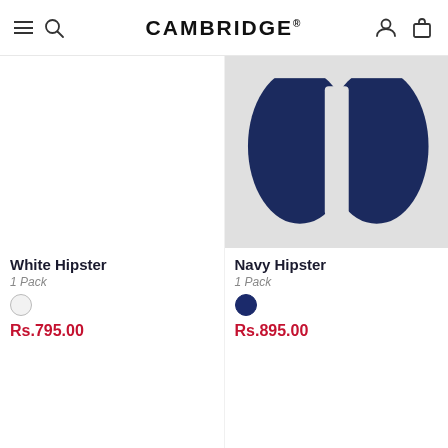CAMBRIDGE®
[Figure (photo): White Hipster underwear product image (white background, product partially visible/cut off)]
White Hipster
1 Pack
Rs.795.00
[Figure (photo): Navy Hipster underwear product image on light grey background showing dark navy blue briefs]
Navy Hipster
1 Pack
Rs.895.00